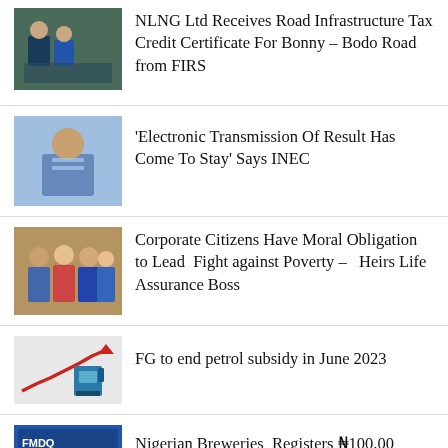NLNG Ltd Receives Road Infrastructure Tax Credit Certificate For Bonny – Bodo Road from FIRS
'Electronic Transmission Of Result Has Come To Stay' Says INEC
Corporate Citizens Have Moral Obligation to Lead  Fight against Poverty –   Heirs Life Assurance Boss
FG to end petrol subsidy in June 2023
Nigerian Breweries  Registers ₦100.00 billion Commercial Paper  on FMDQ
SEPLAT JV empowers additional 300 teachers